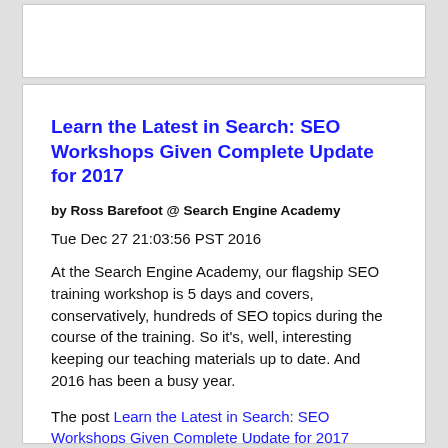Learn the Latest in Search: SEO Workshops Given Complete Update for 2017
by Ross Barefoot @ Search Engine Academy
Tue Dec 27 21:03:56 PST 2016
At the Search Engine Academy, our flagship SEO training workshop is 5 days and covers, conservatively, hundreds of SEO topics during the course of the training. So it's, well, interesting keeping our teaching materials up to date. And 2016 has been a busy year.
The post Learn the Latest in Search: SEO Workshops Given Complete Update for 2017 appeared first on Search Engine Academy.